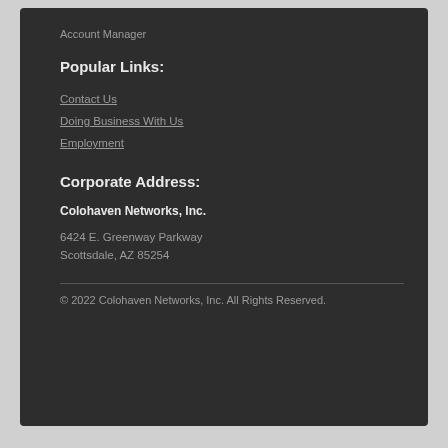Account Manager
Popular Links:
Contact Us
Doing Business With Us
Employment
Corporate Address:
Colohaven Networks, Inc.
6424 E. Greenway Parkway
Scottsdale, AZ 85254
© 2022 Colohaven Networks, Inc. All Rights Reserved.